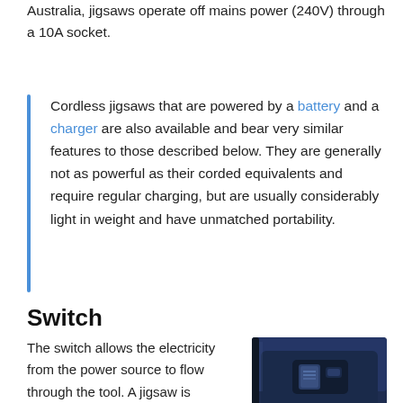Australia, jigsaws operate off mains power (240V) through a 10A socket.
Cordless jigsaws that are powered by a battery and a charger are also available and bear very similar features to those described below. They are generally not as powerful as their corded equivalents and require regular charging, but are usually considerably light in weight and have unmatched portability.
Switch
[Figure (photo): Close-up photo of a jigsaw switch mechanism, showing a sliding switch on a blue/dark grey power tool body.]
The switch allows the electricity from the power source to flow through the tool. A jigsaw is activated either by a trigger switch or a sliding switch. A trigger switch will begin to operate a jigsaw when it is depressed. Most trigger switches will be variable speed